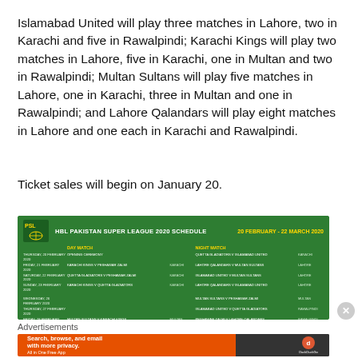Islamabad United will play three matches in Lahore, two in Karachi and five in Rawalpindi; Karachi Kings will play two matches in Lahore, five in Karachi, one in Multan and two in Rawalpindi; Multan Sultans will play five matches in Lahore, one in Karachi, three in Multan and one in Rawalpindi; and Lahore Qalandars will play eight matches in Lahore and one each in Karachi and Rawalpindi.
Ticket sales will begin on January 20.
[Figure (infographic): HBL Pakistan Super League 2020 Schedule infographic showing match schedule from 20 February to 22 March 2020, listing day and night matches by date with venues.]
Advertisements
[Figure (infographic): DuckDuckGo advertisement banner: Search, browse, and email with more privacy. All in One Free App.]